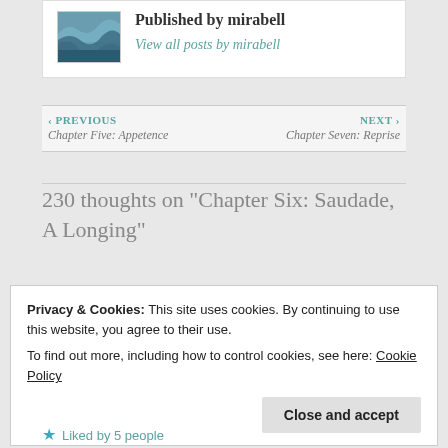Published by mirabell
View all posts by mirabell
‹ PREVIOUS
Chapter Five: Appetence
NEXT ›
Chapter Seven: Reprise
230 thoughts on "Chapter Six: Saudade, A Longing"
Privacy & Cookies: This site uses cookies. By continuing to use this website, you agree to their use.
To find out more, including how to control cookies, see here: Cookie Policy
Close and accept
Liked by 5 people